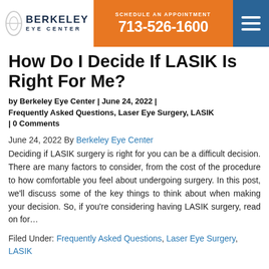SCHEDULE AN APPOINTMENT 713-526-1600 | Berkeley Eye Center
How Do I Decide If LASIK Is Right For Me?
by Berkeley Eye Center | June 24, 2022 | Frequently Asked Questions, Laser Eye Surgery, LASIK | 0 Comments
June 24, 2022 By Berkeley Eye Center
Deciding if LASIK surgery is right for you can be a difficult decision. There are many factors to consider, from the cost of the procedure to how comfortable you feel about undergoing surgery. In this post, we'll discuss some of the key things to think about when making your decision. So, if you're considering having LASIK surgery, read on for…
Filed Under: Frequently Asked Questions, Laser Eye Surgery, LASIK